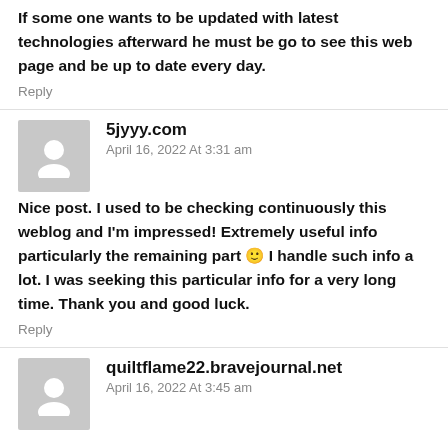If some one wants to be updated with latest technologies afterward he must be go to see this web page and be up to date every day.
Reply
5jyyy.com
April 16, 2022 At 3:31 am
Nice post. I used to be checking continuously this weblog and I'm impressed! Extremely useful info particularly the remaining part 🙂 I handle such info a lot. I was seeking this particular info for a very long time. Thank you and good luck.
Reply
quiltflame22.bravejournal.net
April 16, 2022 At 3:45 am